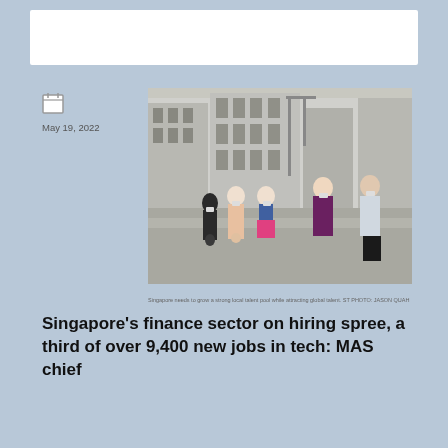[Figure (photo): People walking on a street in Singapore wearing face masks, with modern buildings in the background.]
Singapore needs to grow a strong local talent pool while attracting global talent. ST PHOTO: JASON QUAH
May 19, 2022
Singapore's finance sector on hiring spree, a third of over 9,400 new jobs in tech: MAS chief